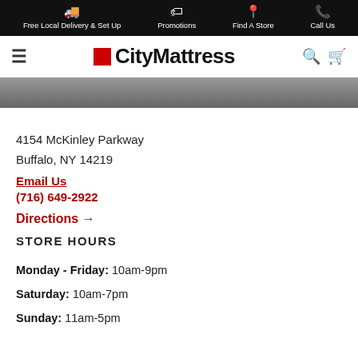Free Local Delivery & Set Up | Promotions | Find A Store | Call Us
[Figure (logo): City Mattress logo with red square and navigation icons (hamburger, search, cart)]
[Figure (photo): Store interior banner image, grey/dark background]
4154 McKinley Parkway
Buffalo, NY 14219
Email Us
(716) 649-2922
Directions →
STORE HOURS
Monday - Friday: 10am-9pm
Saturday: 10am-7pm
Sunday: 11am-5pm